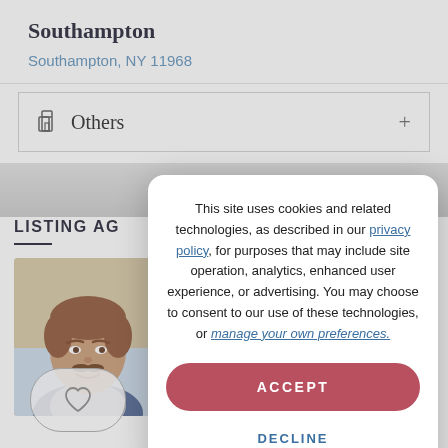Southampton
Southampton, NY 11968
Others
LISTING AG
[Figure (photo): Headshot of a middle-aged man with brown hair and mustache wearing a blue jacket]
[Figure (other): Heart/favorite icon button]
This site uses cookies and related technologies, as described in our privacy policy, for purposes that may include site operation, analytics, enhanced user experience, or advertising. You may choose to consent to our use of these technologies, or manage your own preferences.
ACCEPT
DECLINE